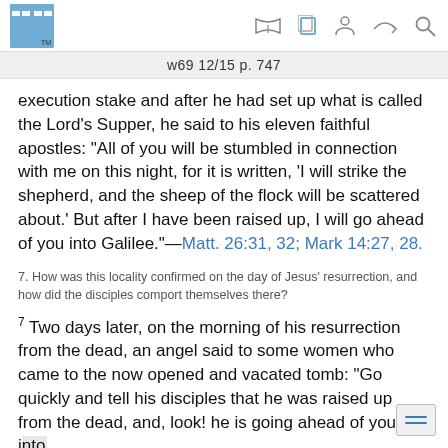w69 12/15 p. 747
execution stake and after he had set up what is called the Lord’s Supper, he said to his eleven faithful apostles: “All of you will be stumbled in connection with me on this night, for it is written, ‘I will strike the shepherd, and the sheep of the flock will be scattered about.’ But after I have been raised up, I will go ahead of you into Galilee.”—Matt. 26:31, 32; Mark 14:27, 28.
7. How was this locality confirmed on the day of Jesus’ resurrection, and how did the disciples comport themselves there?
7 Two days later, on the morning of his resurrection from the dead, an angel said to some women who came to the now opened and vacated tomb: “Go quickly and tell his disciples that he was raised up from the dead, and, look! he is going ahead of you into